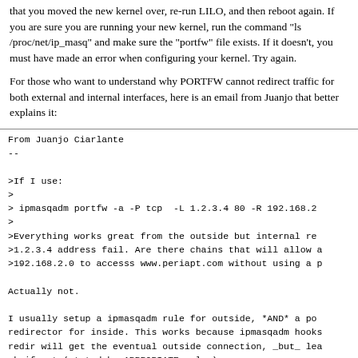that you moved the new kernel over, re-run LILO, and then reboot again. If you are sure you are running your new kernel, run the command "ls /proc/net/ip_masq" and make sure the "portfw" file exists. If it doesn't, you must have made an error when configuring your kernel. Try again.
For those who want to understand why PORTFW cannot redirect traffic for both external and internal interfaces, here is an email from Juanjo that better explains it:
From Juanjo Ciarlante
--

>If I use:
>
> ipmasqadm portfw -a -P tcp  -L 1.2.3.4 80 -R 192.168.2
>
>Everything works great from the outside but internal re
>1.2.3.4 address fail. Are there chains that will allow a
>192.168.2.0 to accesss www.periapt.com without using a p

Actually not.

I usually setup a ipmasqadm rule for outside, *AND* a po
redirector for inside. This works because ipmasqadm hooks
redir will get the eventual outside connection, _but_ lea
ok if not (stated by APPROPIATE rules).